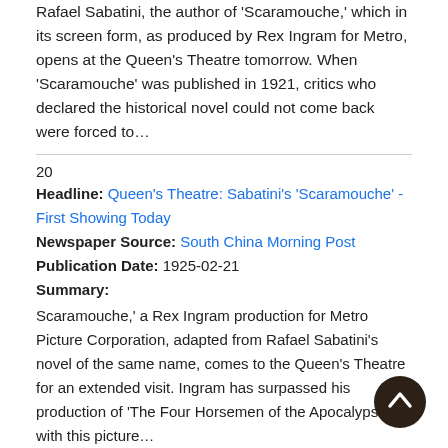Rafael Sabatini, the author of 'Scaramouche,' which in its screen form, as produced by Rex Ingram for Metro, opens at the Queen's Theatre tomorrow. When 'Scaramouche' was published in 1921, critics who declared the historical novel could not come back were forced to…
20
Headline: Queen's Theatre: Sabatini's 'Scaramouche' - First Showing Today
Newspaper Source: South China Morning Post
Publication Date: 1925-02-21
Summary:
Scaramouche,' a Rex Ingram production for Metro Picture Corporation, adapted from Rafael Sabatini's novel of the same name, comes to the Queen's Theatre for an extended visit. Ingram has surpassed his production of 'The Four Horsemen of the Apocalypse' with this picture…